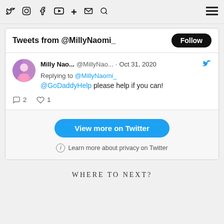Navigation bar with social icons: Twitter, Instagram, Facebook, YouTube, Plus, Mail, Search, and hamburger menu
Tweets from @MillyNaomi_
Follow
Milly Nao... @MillyNao... · Oct 31, 2020
Replying to @MillyNaomi_ @GoDaddyHelp please help if you can!
2  1
View more on Twitter
Learn more about privacy on Twitter
WHERE TO NEXT?